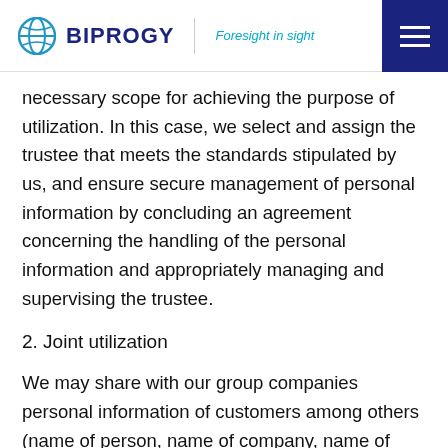BIPROGY | Foresight in sight
necessary scope for achieving the purpose of utilization. In this case, we select and assign the trustee that meets the standards stipulated by us, and ensure secure management of personal information by concluding an agreement concerning the handling of the personal information and appropriately managing and supervising the trustee.
2. Joint utilization
We may share with our group companies personal information of customers among others (name of person, name of company, name of department,